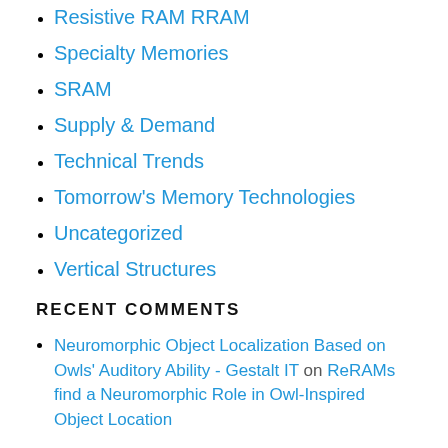Resistive RAM RRAM
Specialty Memories
SRAM
Supply & Demand
Technical Trends
Tomorrow's Memory Technologies
Uncategorized
Vertical Structures
RECENT COMMENTS
Neuromorphic Object Localization Based on Owls' Auditory Ability - Gestalt IT on ReRAMs find a Neuromorphic Role in Owl-Inspired Object Location
Blog Review: Aug. 17 on How Do US Chips Get Into Russian Missiles?